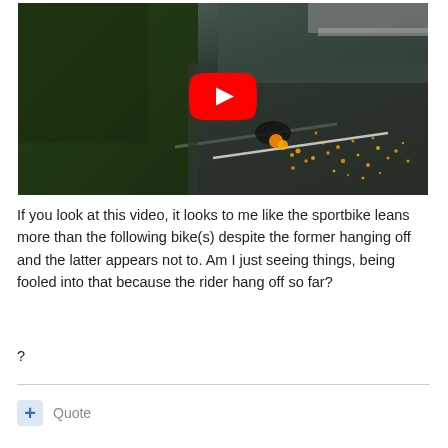[Figure (screenshot): YouTube video thumbnail showing a motorcyclist leaning on a road corner with sparks flying from the bike, surrounded by trees on the left and road on the right. A large red YouTube play button is centered on the image.]
If you look at this video, it looks to me like the sportbike leans more than the following bike(s) despite the former hanging off and the latter appears not to. Am I just seeing things, being fooled into that because the rider hang off so far?
?
+ Quote